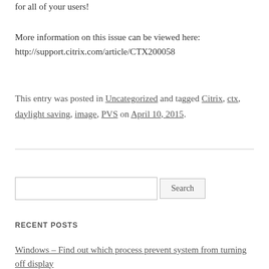for all of your users!
More information on this issue can be viewed here: http://support.citrix.com/article/CTX200058
This entry was posted in Uncategorized and tagged Citrix, ctx, daylight saving, image, PVS on April 10, 2015.
Search
RECENT POSTS
Windows – Find out which process prevent system from turning off display